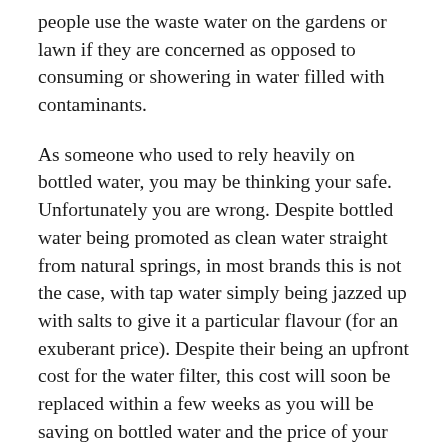people use the waste water on the gardens or lawn if they are concerned as opposed to consuming or showering in water filled with contaminants.
As someone who used to rely heavily on bottled water, you may be thinking your safe. Unfortunately you are wrong. Despite bottled water being promoted as clean water straight from natural springs, in most brands this is not the case, with tap water simply being jazzed up with salts to give it a particular flavour (for an exuberant price). Despite their being an upfront cost for the water filter, this cost will soon be replaced within a few weeks as you will be saving on bottled water and the price of your health later down the track.
Another reason Aqua Safe promote the use of pure filtered water as opposed to bottled water is that